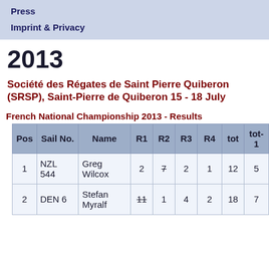Press
Imprint & Privacy
2013
Société des Régates de Saint Pierre Quiberon (SRSP), Saint-Pierre de Quiberon 15 - 18 July
French National Championship 2013 - Results
| Pos | Sail No. | Name | R1 | R2 | R3 | R4 | tot | tot-1 |
| --- | --- | --- | --- | --- | --- | --- | --- | --- |
| 1 | NZL 544 | Greg Wilcox | 2 | 7 | 2 | 1 | 12 | 5 |
| 2 | DEN 6 | Stefan Myralf | 11 | 1 | 4 | 2 | 18 | 7 |